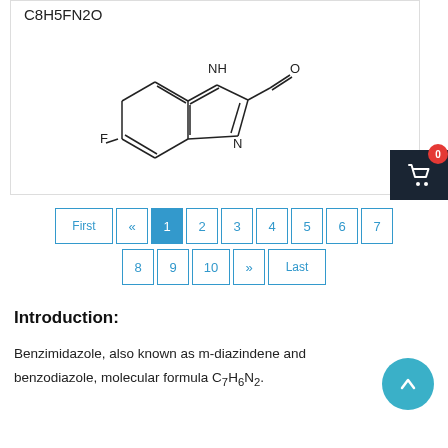C8H5FN2O
[Figure (engineering-diagram): Chemical structure diagram of 5-fluoro-1H-benzimidazole-2-carbaldehyde showing the fused bicyclic ring system with NH, N, F substituent, and CHO aldehyde group]
Pagination: First « 1 2 3 4 5 6 7 8 9 10 » Last
Introduction:
Benzimidazole, also known as m-diazindene and benzodiazole, molecular formula C7H6N2.